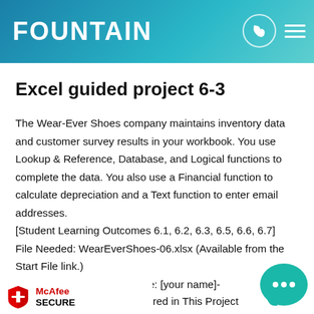FOUNTAIN
Excel guided project 6-3
The Wear-Ever Shoes company maintains inventory data and customer survey results in your workbook. You use Lookup & Reference, Database, and Logical functions to complete the data. You also use a Financial function to calculate depreciation and a Text function to enter email addresses. [Student Learning Outcomes 6.1, 6.2, 6.3, 6.5, 6.6, 6.7] File Needed: WearEverShoes-06.xlsx (Available from the Start File link.) Completed Project File Name: [your name]-WearEverShoes-06.xlsx
…red in This Project